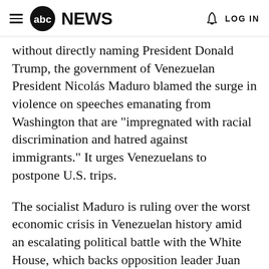abc NEWS  LOG IN
without directly naming President Donald Trump, the government of Venezuelan President Nicolás Maduro blamed the surge in violence on speeches emanating from Washington that are "impregnated with racial discrimination and hatred against immigrants." It urges Venezuelans to postpone U.S. trips.
The socialist Maduro is ruling over the worst economic crisis in Venezuelan history amid an escalating political battle with the White House, which backs opposition leader Juan Guaidó's bid to oust him.